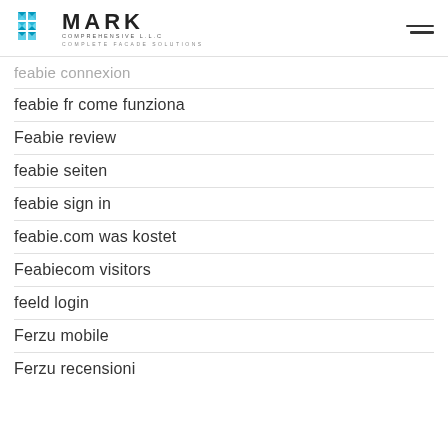MARK COMPREHENSIVE L.L.C — COMPLETE FACADE SOLUTIONS
feabie connexion
feabie fr come funziona
Feabie review
feabie seiten
feabie sign in
feabie.com was kostet
Feabiecom visitors
feeld login
Ferzu mobile
Ferzu recensioni